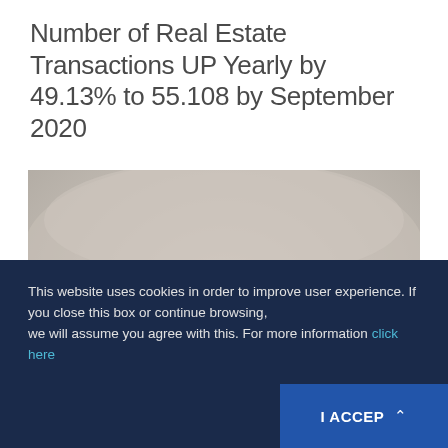Number of Real Estate Transactions UP Yearly by 49.13% to 55.108 by September 2020
[Figure (photo): Photograph of two hands — one open palm holding keys, the other cupping a small model house with red roof, representing real estate transactions.]
This website uses cookies in order to improve user experience. If you close this box or continue browsing, we will assume you agree with this. For more information click here